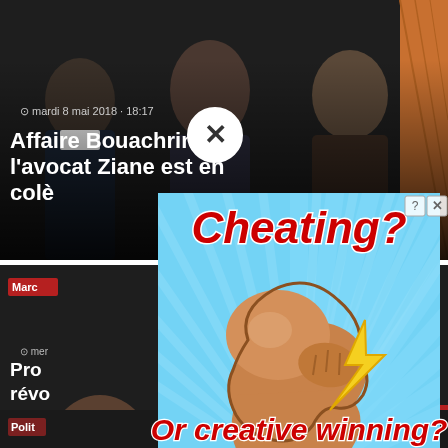[Figure (screenshot): Screenshot of a French news website showing article headlines with a popup advertisement overlay. Top article: 'Affaire Bouachrine: l'avocat Ziane est en colère' dated mardi 8 mai 2018 - 18:17. A dismissal X button is visible. A large ad overlays the center-right showing 'Cheating? Or creative winning?' with a flexed arm emoji and lightning bolt on a light blue sunburst background.]